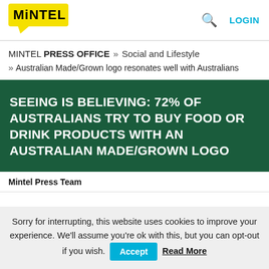[Figure (logo): Mintel logo — yellow speech bubble with black bold text 'MiNTEL']
MINTEL PRESS OFFICE » Social and Lifestyle » Australian Made/Grown logo resonates well with Australians
SEEING IS BELIEVING: 72% OF AUSTRALIANS TRY TO BUY FOOD OR DRINK PRODUCTS WITH AN AUSTRALIAN MADE/GROWN LOGO
Mintel Press Team
Sorry for interrupting, this website uses cookies to improve your experience. We'll assume you're ok with this, but you can opt-out if you wish. Accept Read More